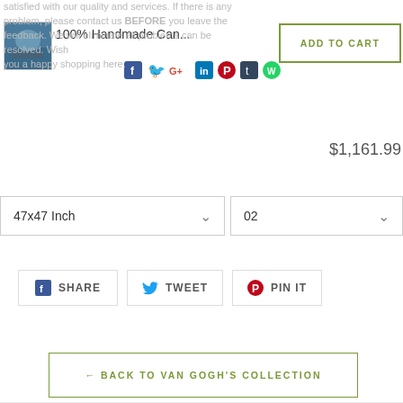satisfied with our quality and services. If there is any problem, please contact us BEFORE you leave the feedback. We will eliminate all problems can be resolved. Wish you a happy shopping here.
[Figure (photo): Small thumbnail image of a Van Gogh painting]
100% Handmade Can...
[Figure (other): Social share icons: Facebook, Twitter, Google+, LinkedIn, Pinterest, Tumblr, WhatsApp]
[Figure (other): ADD TO CART button with olive green border]
$1,161.99
[Figure (other): Size dropdown: 47x47 Inch with chevron]
[Figure (other): Quantity dropdown: 02 with chevron]
[Figure (other): SHARE, TWEET, PIN IT social buttons]
[Figure (other): BACK TO VAN GOGH'S COLLECTION button with olive green border]